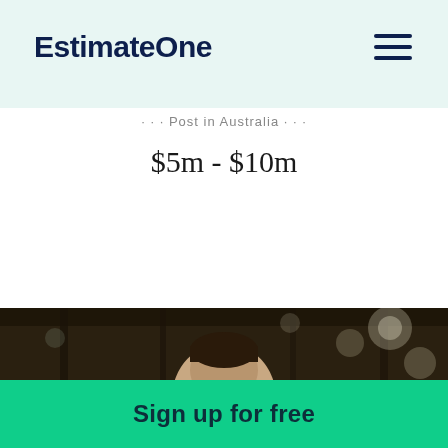EstimateOne
· · · Post in Australia · · ·
$5m - $10m
[Figure (photo): Blurred industrial warehouse interior background with a man's head visible at the bottom, bokeh lighting effects, dark ceiling with structural beams]
Sign up for free